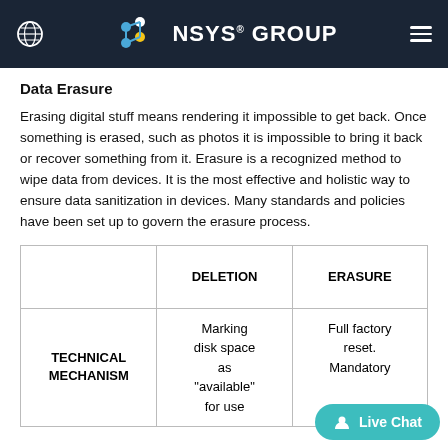NSYS GROUP
Data Erasure
Erasing digital stuff means rendering it impossible to get back. Once something is erased, such as photos it is impossible to bring it back or recover something from it. Erasure is a recognized method to wipe data from devices. It is the most effective and holistic way to ensure data sanitization in devices. Many standards and policies have been set up to govern the erasure process.
|  | DELETION | ERASURE |
| --- | --- | --- |
| TECHNICAL MECHANISM | Marking disk space as "available" for use | Full factory reset. Mandatory |